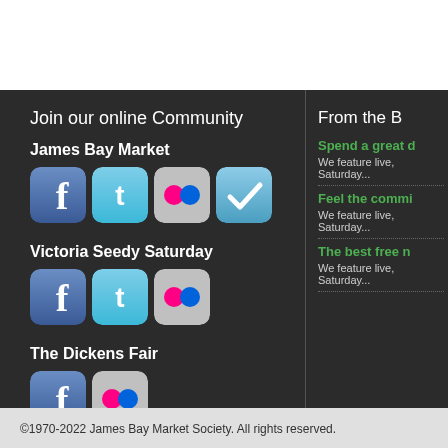Join our online Community
James Bay Market
[Figure (illustration): Social media icons: Facebook, Twitter, Flickr, Foursquare]
Victoria Seedy Saturday
[Figure (illustration): Social media icons: Facebook, Twitter, Flickr]
The Dickens Fair
[Figure (illustration): Social media icons: Facebook, Flickr]
From the B
Spend a great d
We feature live, Saturday...
Feel the commi
We feature live, Saturday...
The best free n
We feature live, Saturday...
©1970-2022 James Bay Market Society. All rights reserved.